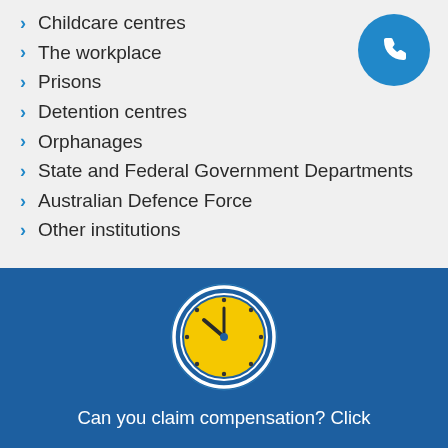Childcare centres
The workplace
Prisons
Detention centres
Orphanages
State and Federal Government Departments
Australian Defence Force
Other institutions
[Figure (illustration): Yellow clock icon with dark hands showing approximately 10:10, on a blue background with white circular border rings]
Can you claim compensation? Click